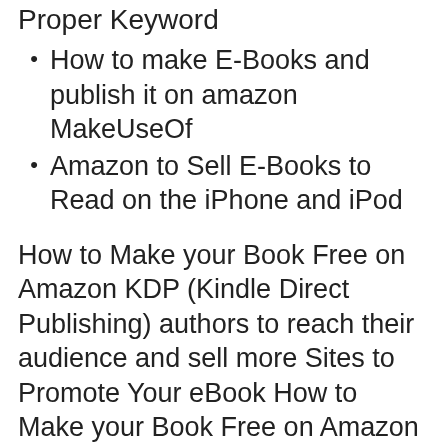Proper Keyword
How to make E-Books and publish it on amazon MakeUseOf
Amazon to Sell E-Books to Read on the iPhone and iPod
How to Make your Book Free on Amazon KDP (Kindle Direct Publishing) authors to reach their audience and sell more Sites to Promote Your eBook How to Make your Book Free on Amazon KDP (Kindle Direct Publishing) authors to reach their audience and sell more Sites to Promote Your eBook
25/04/2014 · Here are five Amazon services, all of them free to The downside of selling on Amazon is that